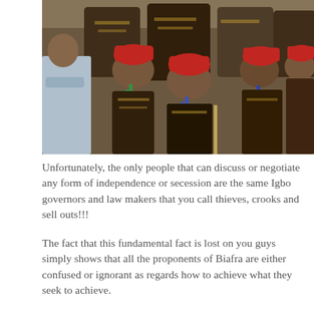[Figure (photo): A group of elderly men wearing red traditional caps and patterned attire seated together at an event, with blue lanyards around their necks.]
Unfortunately, the only people that can discuss or negotiate any form of independence or secession are the same Igbo governors and law makers that you call thieves, crooks and sell outs!!!
The fact that this fundamental fact is lost on you guys simply shows that all the proponents of Biafra are either confused or ignorant as regards how to achieve what they seek to achieve.
The same type of ignorance that made our people to be clapping for GEJ when he removed Chief Vincent Ogbulafor from PDP that produced...